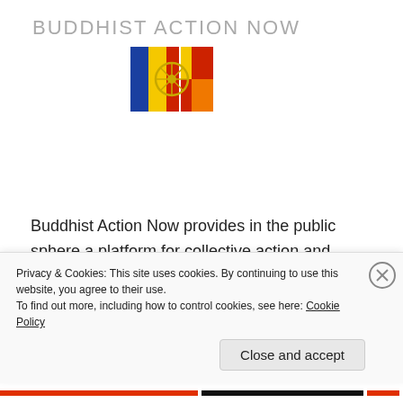BUDDHIST ACTION NOW
[Figure (logo): Buddhist Action Now logo: two colored rectangular flag sections (blue/yellow/red and yellow/red/orange) with a dharma wheel symbol overlaid in the center]
Buddhist Action Now provides in the public sphere a platform for collective action and speech that manifests and advocates for the dharma values of compassion, wisdom, connection, ethical action, and
Privacy & Cookies: This site uses cookies. By continuing to use this website, you agree to their use.
To find out more, including how to control cookies, see here: Cookie Policy
Close and accept